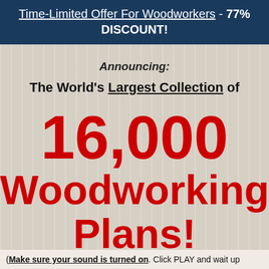Time-Limited Offer For Woodworkers - 77% DISCOUNT!
Announcing:
The World's Largest Collection of
16,000
Woodworking Plans!
(Make sure your sound is turned on. Click PLAY and wait up